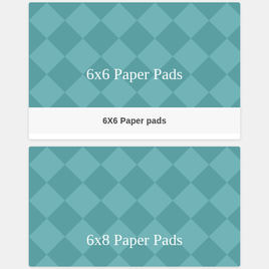[Figure (illustration): Teal geometric pinwheel/triangle pattern background with white text '6x6 Paper Pads' centered, product card image]
6X6 Paper pads
[Figure (illustration): Teal geometric pinwheel/triangle pattern background with white text '6x8 Paper Pads' centered, product card image]